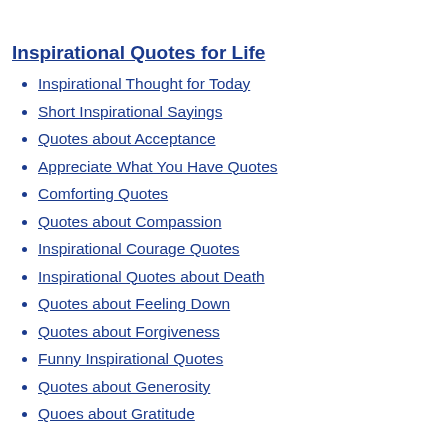Inspirational Quotes for Life
Inspirational Thought for Today
Short Inspirational Sayings
Quotes about Acceptance
Appreciate What You Have Quotes
Comforting Quotes
Quotes about Compassion
Inspirational Courage Quotes
Inspirational Quotes about Death
Quotes about Feeling Down
Quotes about Forgiveness
Funny Inspirational Quotes
Quotes about Generosity
Quoes about Gratitude